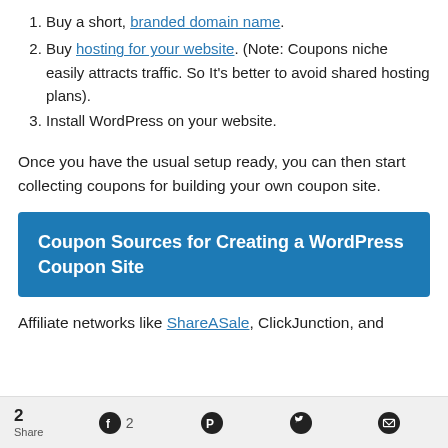Buy a short, branded domain name.
Buy hosting for your website. (Note: Coupons niche easily attracts traffic. So It's better to avoid shared hosting plans).
Install WordPress on your website.
Once you have the usual setup ready, you can then start collecting coupons for building your own coupon site.
Coupon Sources for Creating a WordPress Coupon Site
Affiliate networks like ShareASale, ClickJunction, and
2 Share  2